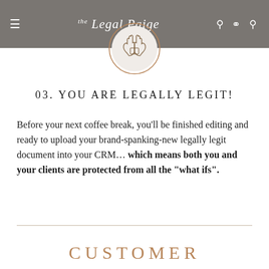the Legal Paige
[Figure (logo): The Legal Paige circular logo with two hands facing each other]
03. YOU ARE LEGALLY LEGIT!
Before your next coffee break, you'll be finished editing and ready to upload your brand-spanking-new legally legit document into your CRM… which means both you and your clients are protected from all the "what ifs".
CUSTOMER